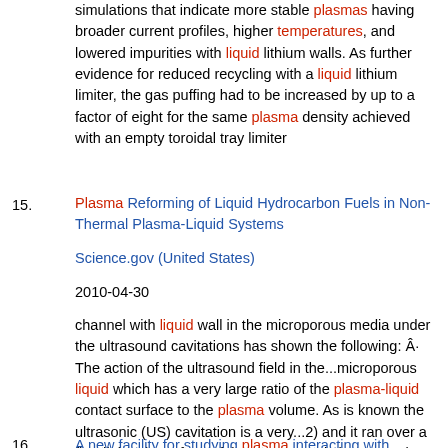simulations that indicate more stable plasmas having broader current profiles, higher temperatures, and lowered impurities with liquid lithium walls. As further evidence for reduced recycling with a liquid lithium limiter, the gas puffing had to be increased by up to a factor of eight for the same plasma density achieved with an empty toroidal tray limiter
15. Plasma Reforming of Liquid Hydrocarbon Fuels in Non-Thermal Plasma-Liquid Systems
Science.gov (United States)
2010-04-30
channel with liquid wall in the microporous media under the ultrasound cavitations has shown the following: Â· The action of the ultrasound field in the...microporous liquid which has a very large ratio of the plasma-liquid contact surface to the plasma volume. As is known the ultrasonic (US) cavitation is a very...2) and it ran over a flat dielectric surface of the magnetostrictive transmitter (5) which produced ultrasonic (US) cavitations , so the discharge
16. A new facility for studying plasma interacting with flowing liquid...